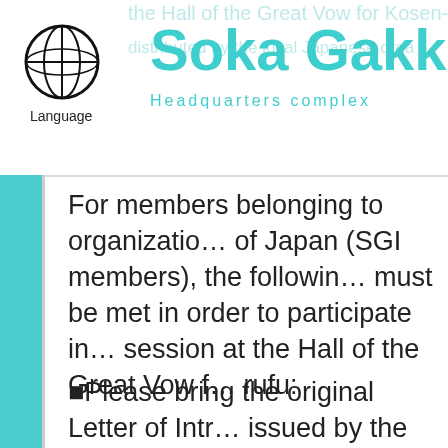Soka Gakka Headquarters complex
For members belonging to organizations outside of Japan (SGI members), the following conditions must be met in order to participate in a gongyo session at the Hall of the Great Vow for Kosen-rufu:
Please bring the original Letter of Introduction issued by the SGI organization in your country/territory. Every participant must submit an individual Letter of Introduction.